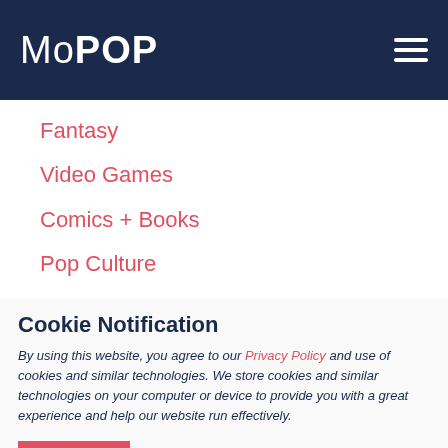MoPOP
Fantasy
Video Games
Comics + Books
Pop Culture
SFFSFF
Sound Off!
Cookie Notification
By using this website, you agree to our Privacy Policy and use of cookies and similar technologies. We store cookies and similar technologies on your computer or device to provide you with a great experience and help our website run effectively.
CLOSE